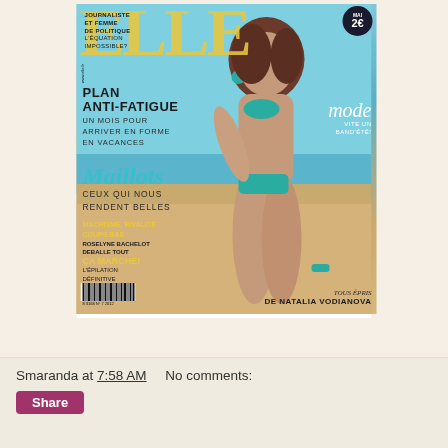[Figure (photo): ELLE magazine cover featuring a woman in a teal bikini on a beach. Cover headlines include: JOURNALISTE ET FEMME DE POLITIQUE L'ÉQUATION IMPOSSIBLE?, PLAN ANTI-FATIGUE UN MOIS POUR ARRIVER EN FORME EN VACANCES, mode VITE UN BAND'ÉTÉ!, Maillots CEUX QUI NOUS RENDENT BELLES, MACHISME, RIVALITÉ COUPS BAS ROSELYNE BACHELOT DEBALLE TOUT, ÇA MARCHE! L'ÉPILATION DÉFINITIVE A FAIRE CHEZ SOI. Price: 2€. Model credit: TOUS ERPUIS DE NATALIA VODIANOVA.]
Smaranda at 7:58 AM    No comments:
Share